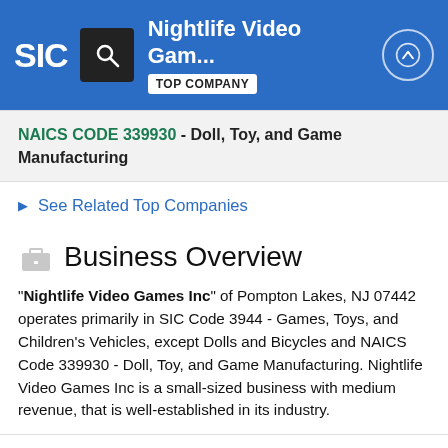Nightlife Video Gam... TOP COMPANY
NAICS CODE 339930 - Doll, Toy, and Game Manufacturing
See Related Top Companies
Business Overview
"Nightlife Video Games Inc" of Pompton Lakes, NJ 07442 operates primarily in SIC Code 3944 - Games, Toys, and Children's Vehicles, except Dolls and Bicycles and NAICS Code 339930 - Doll, Toy, and Game Manufacturing. Nightlife Video Games Inc is a small-sized business with medium revenue, that is well-established in its industry.